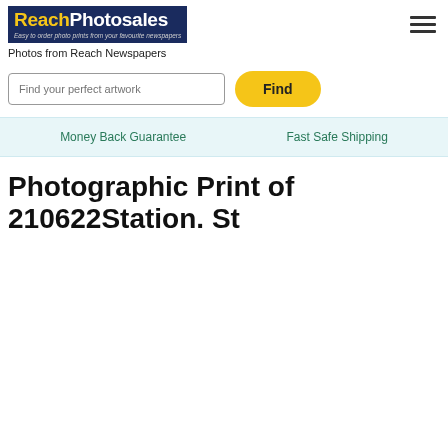[Figure (logo): ReachPhotosales logo on dark blue background with yellow 'Reach' text and white 'Photosales' text and italic subtitle]
Photos from Reach Newspapers
Find your perfect artwork
Find
Money Back Guarantee
Fast Safe Shipping
Photographic Print of 210622Station. St